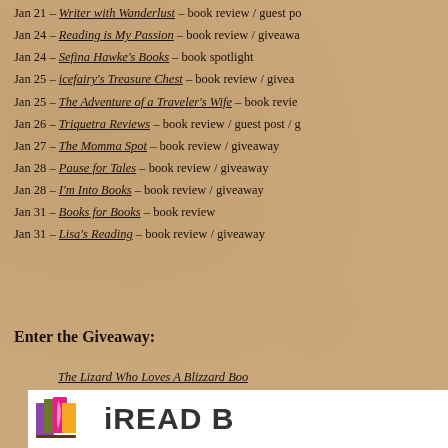Jan 21 – Writer with Wanderlust – book review / guest post
Jan 24 – Reading is My Passion – book review / giveaway
Jan 24 – Sefina Hawke's Books – book spotlight
Jan 25 – icefairy's Treasure Chest – book review / giveaway
Jan 25 – The Adventure of a Traveler's Wife – book review
Jan 26 – Triquetra Reviews – book review / guest post / g
Jan 27 – The Momma Spot – book review / giveaway
Jan 28 – Pause for Tales – book review / giveaway
Jan 28 – I'm Into Books – book review / giveaway
Jan 31 – Books for Books – book review
Jan 31 – Lisa's Reading – book review / giveaway
Enter the Giveaway:
The Lizard Who Loves A Blizzard Book Tour Giveaway
[Figure (logo): iREAD Book Tours logo with colorful book pages icon]